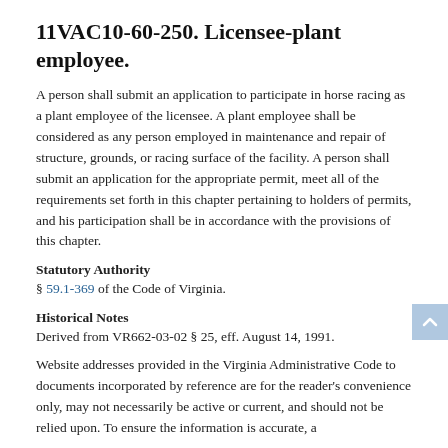11VAC10-60-250. Licensee-plant employee.
A person shall submit an application to participate in horse racing as a plant employee of the licensee. A plant employee shall be considered as any person employed in maintenance and repair of structure, grounds, or racing surface of the facility. A person shall submit an application for the appropriate permit, meet all of the requirements set forth in this chapter pertaining to holders of permits, and his participation shall be in accordance with the provisions of this chapter.
Statutory Authority
§ 59.1-369 of the Code of Virginia.
Historical Notes
Derived from VR662-03-02 § 25, eff. August 14, 1991.
Website addresses provided in the Virginia Administrative Code to documents incorporated by reference are for the reader's convenience only, may not necessarily be active or current, and should not be relied upon. To ensure the information is accurate, a